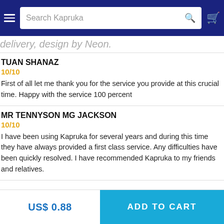Search Kapruka
delivery, design by Neon.
TUAN SHANAZ
10/10
First of all let me thank you for the service you provide at this crucial time. Happy with the service 100 percent
MR TENNYSON MG JACKSON
10/10
I have been using Kapruka for several years and during this time they have always provided a first class service. Any difficulties have been quickly resolved. I have recommended Kapruka to my friends and relatives.
US$ 0.88
ADD TO CART